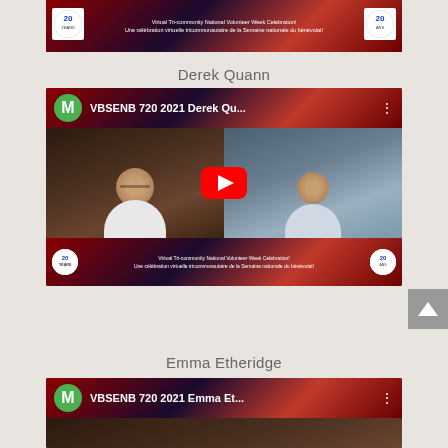[Figure (screenshot): Top banner for Virtual Tri-community National Volunteer Week Celebration with logos on left and right and bilingual text in center]
Derek Quann
[Figure (screenshot): YouTube video thumbnail for VBSENB 720 2021 Derek Qu... showing two people in a virtual meeting with a YouTube play button overlay and event banner at the bottom]
Emma Etheridge
[Figure (screenshot): YouTube video thumbnail for VBSENB 720 2021 Emma Et... partially visible at bottom of page]